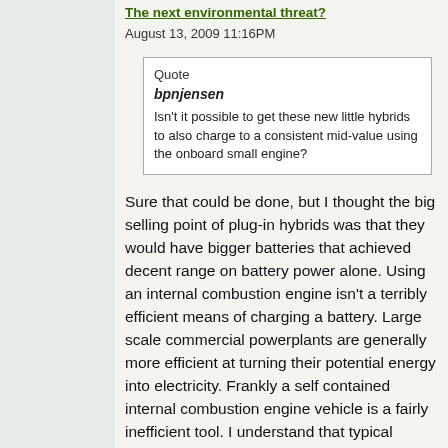The next environmental threat?
August 13, 2009 11:16PM
Quote
bpnjensen
Isn't it possible to get these new little hybrids to also charge to a consistent mid-value using the onboard small engine?
Sure that could be done, but I thought the big selling point of plug-in hybrids was that they would have bigger batteries that achieved decent range on battery power alone. Using an internal combustion engine isn't a terribly efficient means of charging a battery. Large scale commercial powerplants are generally more efficient at turning their potential energy into electricity. Frankly a self contained internal combustion engine vehicle is a fairly inefficient tool. I understand that typical energy content for a modern engine ends up with maybe a third going into propulsion, a third going